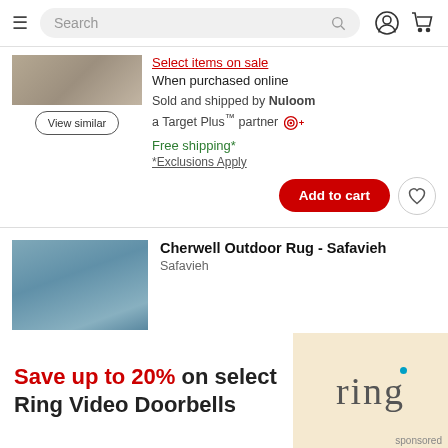Search
Select items on sale
When purchased online
Sold and shipped by Nuloom
a Target Plus™ partner
Free shipping*
*Exclusions Apply
Add to cart
Cherwell Outdoor Rug - Safavieh
Safavieh
[Figure (infographic): Ring video doorbell advertisement. Text: Save up to 20% on select Ring Video Doorbells. Ring logo on cream/tan background. Sponsored.]